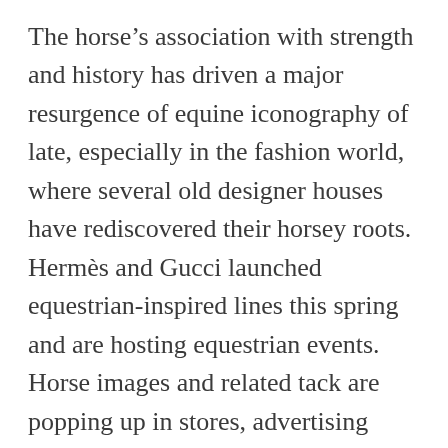The horse's association with strength and history has driven a major resurgence of equine iconography of late, especially in the fashion world, where several old designer houses have rediscovered their horsey roots. Hermès and Gucci launched equestrian-inspired lines this spring and are hosting equestrian events. Horse images and related tack are popping up in stores, advertising campaigns and logos all over the world, as well as in the lines of designers such as Chloé, Stella McCartney and Dior. But saddle collectors can honestly say they were there first, with some having been at it for decades. And while the newfound appreciation for